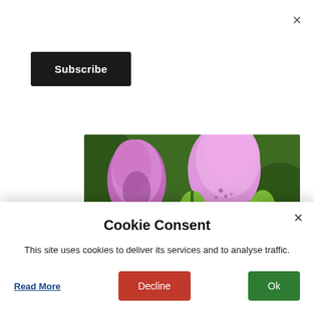×
[Figure (illustration): Subscribe button (black background, white text)]
[Figure (photo): Close-up photograph of pink foxglove flowers with green buds against a dark green leafy background. Watermark reads: https://travel.bhushavali.com/]
Somehow I definitely felt this was more to do with the
Nearest metro station: Richmond
Cookie Consent
This site uses cookies to deliver its services and to analyse traffic.
Read More
Decline
Ok